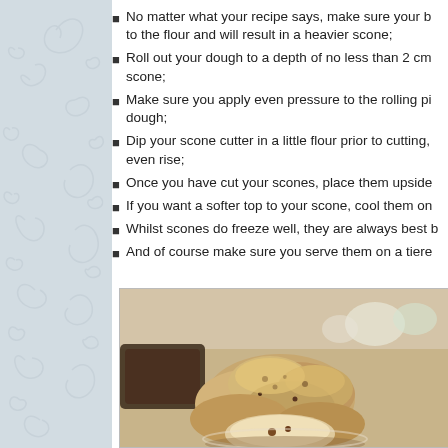No matter what your recipe says, make sure your b to the flour and will result in a heavier scone;
Roll out your dough to a depth of no less than 2 cm scone;
Make sure you apply even pressure to the rolling pi dough;
Dip your scone cutter in a little flour prior to cutting, even rise;
Once you have cut your scones, place them upside
If you want a softer top to your scone, cool them on
Whilst scones do freeze well, they are always best b
And of course make sure you serve them on a tiere
[Figure (photo): A photo of scones and baked goods on a tiered stand at an afternoon tea setting, with cups and saucers visible in the background.]